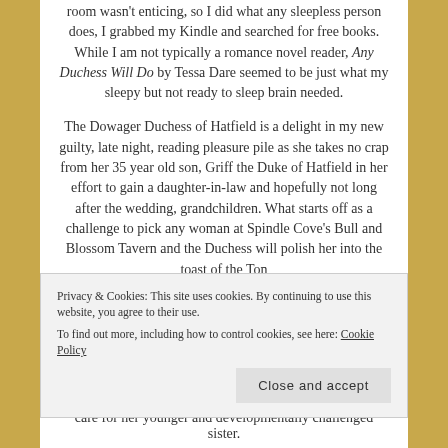room wasn't enticing, so I did what any sleepless person does, I grabbed my Kindle and searched for free books. While I am not typically a romance novel reader, Any Duchess Will Do by Tessa Dare seemed to be just what my sleepy but not ready to sleep brain needed.
The Dowager Duchess of Hatfield is a delight in my new guilty, late night, reading pleasure pile as she takes no crap from her 35 year old son, Griff the Duke of Hatfield in her effort to gain a daughter-in-law and hopefully not long after the wedding, grandchildren. What starts off as a challenge to pick any woman at Spindle Cove's Bull and Blossom Tavern and the Duchess will polish her into the toast of the Ton
Privacy & Cookies: This site uses cookies. By continuing to use this website, you agree to their use. To find out more, including how to control cookies, see here: Cookie Policy
Close and accept
care for her younger and developmentally challenged sister.